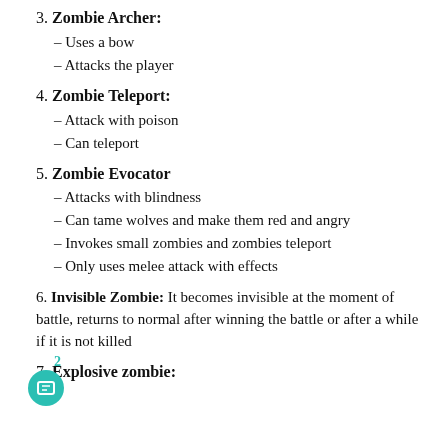3. Zombie Archer:
– Uses a bow
– Attacks the player
4. Zombie Teleport:
– Attack with poison
– Can teleport
5. Zombie Evocator
– Attacks with blindness
– Can tame wolves and make them red and angry
– Invokes small zombies and zombies teleport
– Only uses melee attack with effects
6. Invisible Zombie: It becomes invisible at the moment of battle, returns to normal after winning the battle or after a while if it is not killed
7. Explosive zombie: